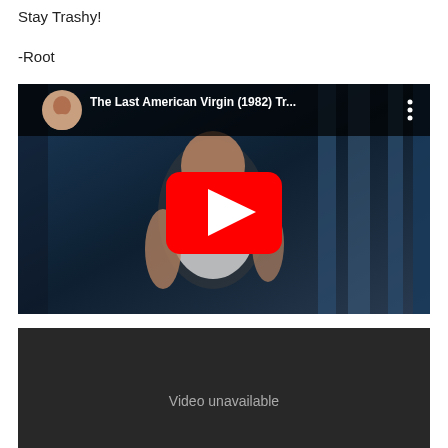Stay Trashy!
-Root
[Figure (screenshot): YouTube video embed showing 'The Last American Virgin (1982) Tr...' with a play button overlay. Shows a man in a white tank top in a dark setting. Channel avatar (woman) visible in top left.]
[Figure (screenshot): YouTube video embed showing a dark/black screen with the text 'Video unavailable' in white.]